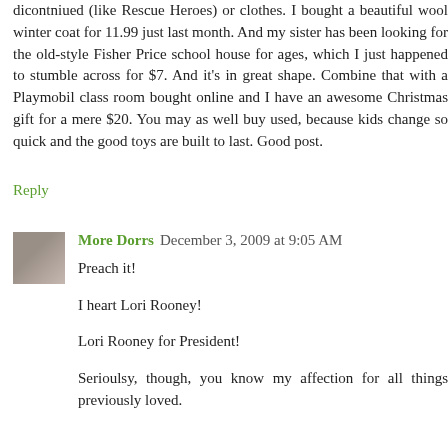dicontniued (like Rescue Heroes) or clothes. I bought a beautiful wool winter coat for 11.99 just last month. And my sister has been looking for the old-style Fisher Price school house for ages, which I just happened to stumble across for $7. And it's in great shape. Combine that with a Playmobil class room bought online and I have an awesome Christmas gift for a mere $20. You may as well buy used, because kids change so quick and the good toys are built to last. Good post.
Reply
More Dorrs December 3, 2009 at 9:05 AM
Preach it!

I heart Lori Rooney!

Lori Rooney for President!

Serioulsy, though, you know my affection for all things previously loved.